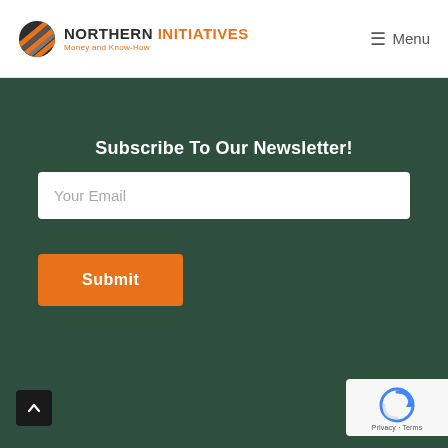[Figure (logo): Northern Initiatives logo with diagonal striped icon in dark grey and orange, company name in dark grey and orange, tagline 'Money and Know-How' in orange]
≡ Menu
Subscribe To Our Newsletter!
Your Email
Submit